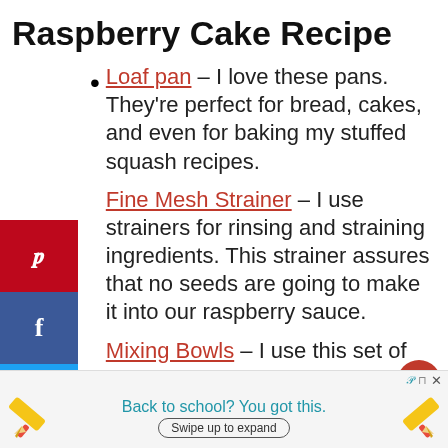Raspberry Cake Recipe
Loaf pan – I love these pans. They're perfect for bread, cakes, and even for baking my stuffed squash recipes.
Fine Mesh Strainer – I use strainers for rinsing and straining ingredients. This strainer assures that no seeds are going to make it into our raspberry sauce.
Mixing Bowls – I use this set of bowls for mixing, serving, storing, and transporting food. The pretty lids guarantee no spilling.
Back to school? You got this. Swipe up to expand